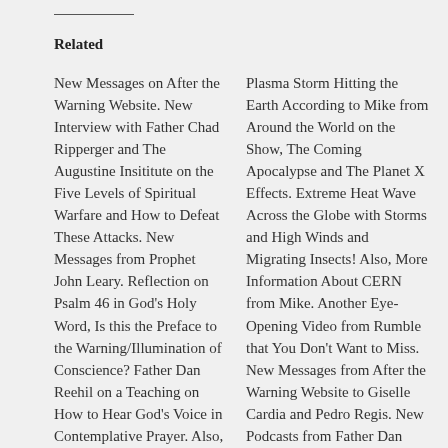Related
New Messages on After the Warning Website. New Interview with Father Chad Ripperger and The Augustine Insititute on the Five Levels of Spiritual Warfare and How to Defeat These Attacks. New Messages from Prophet John Leary. Reflection on Psalm 46 in God's Holy Word, Is this the Preface to the Warning/Illumination of Conscience? Father Dan Reehil on a Teaching on How to Hear God's Voice in Contemplative Prayer. Also, an Interview with Daniel O'Connor on Not Dialoging with the Devil, and the
Plasma Storm Hitting the Earth According to Mike from Around the World on the Show, The Coming Apocalypse and The Planet X Effects. Extreme Heat Wave Across the Globe with Storms and High Winds and Migrating Insects! Also, More Information About CERN from Mike. Another Eye- Opening Video from Rumble that You Don't Want to Miss. New Messages from After the Warning Website to Giselle Cardia and Pedro Regis. New Podcasts from Father Dan Reehil on Catholic Radio Maria and Mother Miriam on Life Site